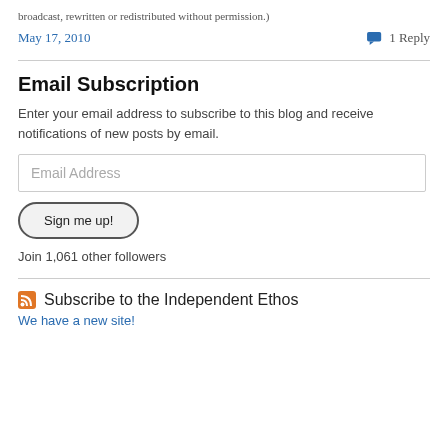broadcast, rewritten or redistributed without permission.)
May 17, 2010    💬 1 Reply
Email Subscription
Enter your email address to subscribe to this blog and receive notifications of new posts by email.
Email Address
Sign me up!
Join 1,061 other followers
Subscribe to the Independent Ethos
We have a new site!